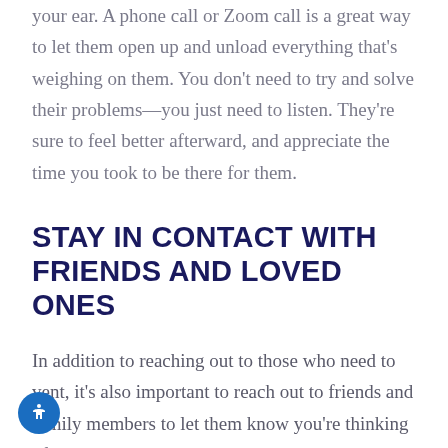your ear. A phone call or Zoom call is a great way to let them open up and unload everything that's weighing on them. You don't need to try and solve their problems—you just need to listen. They're sure to feel better afterward, and appreciate the time you took to be there for them.
STAY IN CONTACT WITH FRIENDS AND LOVED ONES
In addition to reaching out to those who need to vent, it's also important to reach out to friends and family members to let them know you're thinking of them. Even a simple